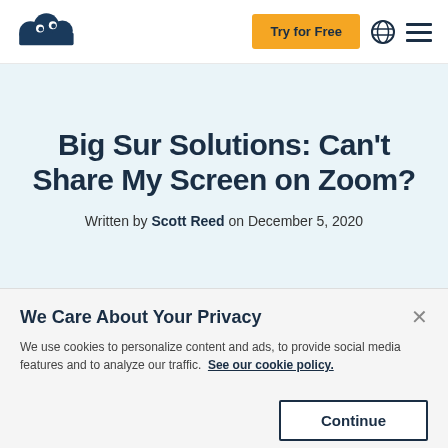Try for Free
Big Sur Solutions: Can't Share My Screen on Zoom?
Written by Scott Reed on December 5, 2020
We Care About Your Privacy
We use cookies to personalize content and ads, to provide social media features and to analyze our traffic. See our cookie policy.
Continue